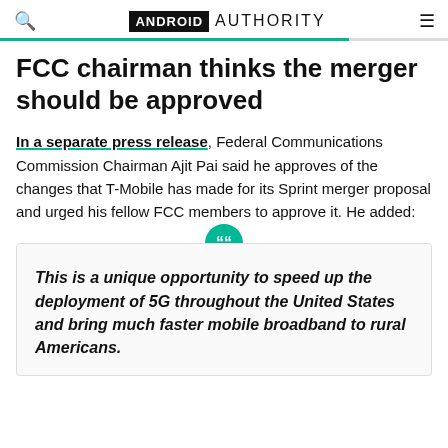ANDROID AUTHORITY
FCC chairman thinks the merger should be approved
In a separate press release, Federal Communications Commission Chairman Ajit Pai said he approves of the changes that T-Mobile has made for its Sprint merger proposal and urged his fellow FCC members to approve it. He added:
This is a unique opportunity to speed up the deployment of 5G throughout the United States and bring much faster mobile broadband to rural Americans.